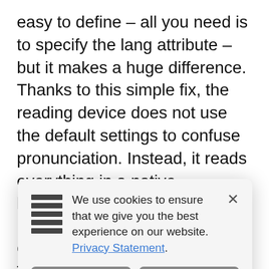easy to define – all you need is to specify the lang attribute – but it makes a huge difference. Thanks to this simple fix, the reading device does not use the default settings to confuse pronunciation. Instead, it reads everything in a native language.

One important thing to note. Traditionally, the lang attribute is specified in the HTML element. However, sometimes email clients remove it. [partially obscured] as well. If [obscured] de one [obscured] a [obscured] ach block [obscured] s. [obscured] e is content-type. It specifies character coding and
[Figure (screenshot): Cookie consent modal dialog with hamburger menu icon on the left, close X button top right, message 'We use cookies to ensure that we give you the best experience on our website. Privacy Statement.' with two buttons: 'I disagree' and 'I agree'.]